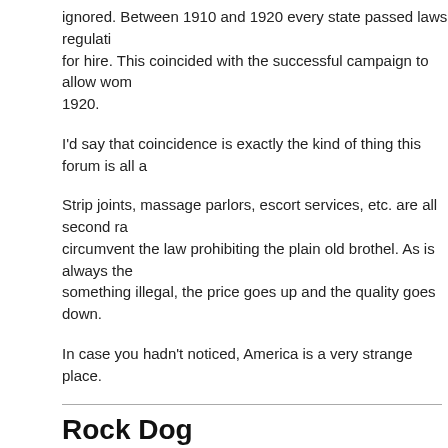ignored. Between 1910 and 1920 every state passed laws regulating women for hire. This coincided with the successful campaign to allow women to vote in 1920.
I'd say that coincidence is exactly the kind of thing this forum is all about.
Strip joints, massage parlors, escort services, etc. are all second rate attempts to circumvent the law prohibiting the plain old brothel. As is always the case when you make something illegal, the price goes up and the quality goes down.
In case you hadn't noticed, America is a very strange place.
Rock Dog
Hardbag,
You touched on the KEY point why there are no legal FKK style clubs in the US -- because women don't want them. They oppose anything that even resembles prostitution...... and when there's some man opposing it, you can bet there's a woman standing behind him making sure he says what she wants to hear.
That's why P4P is where it is. It's hard to get any benefit by supporting it, but easy to benefit (socially and politically) by opposing the idea.
I don't think it will ever be completely eliminated, because there is so much demand...